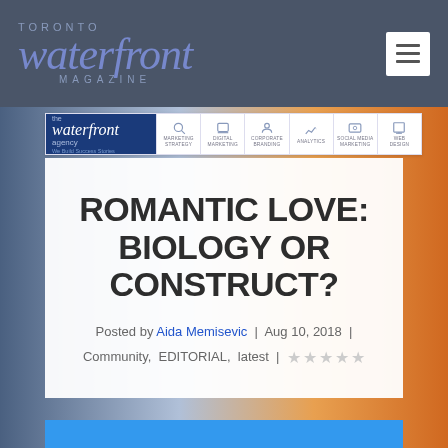[Figure (screenshot): Toronto Waterfront Magazine website screenshot with header, navigation bar, article title card, and waterfront photo background]
TORONTO waterfront MAGAZINE
[Figure (logo): The Waterfront Agency logo with navigation items: Marketing Strategy, Digital Marketing, Corporate Branding, Analytics, Social Media Marketing, Web Design]
ROMANTIC LOVE: BIOLOGY OR CONSTRUCT?
Posted by Aida Memisevic | Aug 10, 2018 | Community, EDITORIAL, latest | ★★★★★